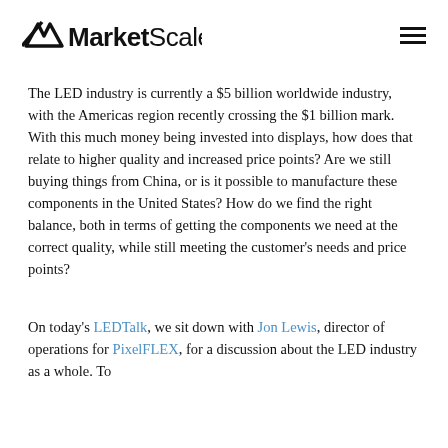MarketScale
The LED industry is currently a $5 billion worldwide industry, with the Americas region recently crossing the $1 billion mark. With this much money being invested into displays, how does that relate to higher quality and increased price points? Are we still buying things from China, or is it possible to manufacture these components in the United States? How do we find the right balance, both in terms of getting the components we need at the correct quality, while still meeting the customer’s needs and price points?
On today’s LEDTalk, we sit down with Jon Lewis, director of operations for PixelFLEX, for a discussion about the LED industry as a whole. To